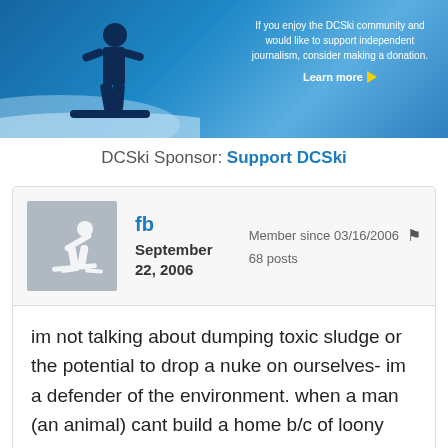[Figure (illustration): DCSki banner advertisement showing a snowboarder silhouette on a blue background with text: 'If you enjoy the DCSki community and would like to support independent journalism, consider making a donation. Learn more.']
DCSki Sponsor: Support DCSki
fb
September 22, 2006
Member since 03/16/2006
68 posts
im not talking about dumping toxic sludge or the potential to drop a nuke on ourselves- im a defender of the environment. when a man (an animal) cant build a home b/c of loony rules, something is wrong. look at a usgs satellite shot to realize the microcosm of a house footprint, etc to the overall scope of things. some of the worst offenders of the environment are the ones that claim to help it- look at the oodles of trash left